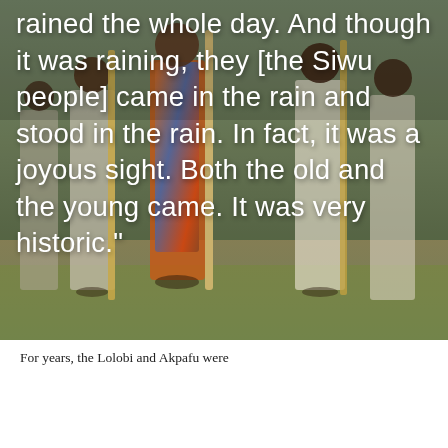[Figure (photo): A group of people dressed in traditional African attire, holding long sticks/staffs, standing outdoors on a dirt/grass area. The image has a dark overlay with white text overlay quoting someone about the Siwu people coming in the rain.]
rained the whole day. And though it was raining, they [the Siwu people] came in the rain and stood in the rain. In fact, it was a joyous sight. Both the old and the young came. It was very historic."
For years, the Lolobi and Akpafu were